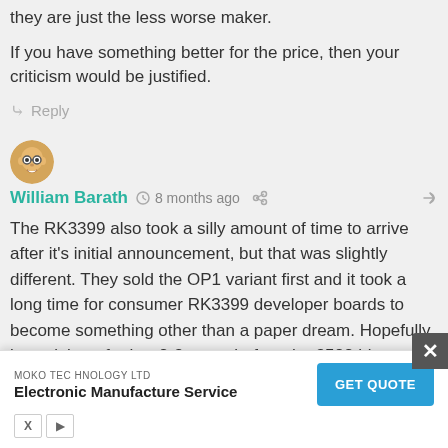they are just the less worse maker.
If you have something better for the price, then your criticism would be justified.
Reply
[Figure (illustration): User avatar: cartoon bald man with glasses]
William Barath  8 months ago
The RK3399 also took a silly amount of time to arrive after it's initial announcement, but that was slightly different. They sold the OP1 variant first and it took a long time for consumer RK3399 developer boards to become something other than a paper dream. Hopefully it won't be a further 2-3 years before the 3588 hits consumer developer boards.
Reply
[Figure (infographic): Advertisement: MOKO TECHNOLOGY LTD - Electronic Manufacture Service - GET QUOTE button]